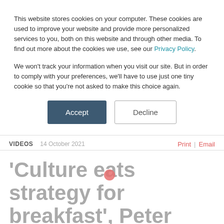This website stores cookies on your computer. These cookies are used to improve your website and provide more personalized services to you, both on this website and through other media. To find out more about the cookies we use, see our Privacy Policy.
We won't track your information when you visit our site. But in order to comply with your preferences, we'll have to use just one tiny cookie so that you're not asked to make this choice again.
Accept
Decline
VIDEOS   14 October 2021   Print | Email
'Culture eats strategy for breakfast', Peter Drucker once said